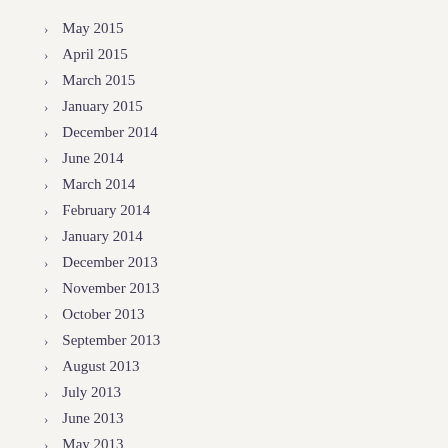May 2015
April 2015
March 2015
January 2015
December 2014
June 2014
March 2014
February 2014
January 2014
December 2013
November 2013
October 2013
September 2013
August 2013
July 2013
June 2013
May 2013
April 2013